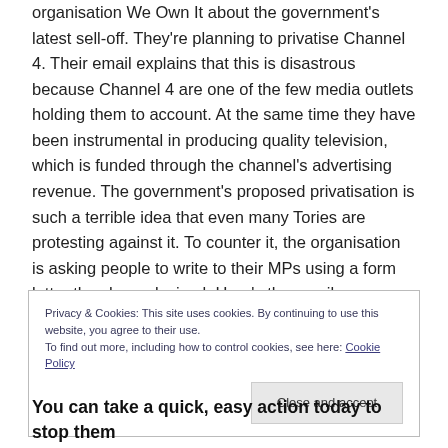organisation We Own It about the government's latest sell-off. They're planning to privatise Channel 4. Their email explains that this is disastrous because Channel 4 are one of the few media outlets holding them to account. At the same time they have been instrumental in producing quality television, which is funded through the channel's advertising revenue. The government's proposed privatisation is such a terrible idea that even many Tories are protesting against it. To counter it, the organisation is asking people to write to their MPs using a form letter they have devised. Here's the email:
Privacy & Cookies: This site uses cookies. By continuing to use this website, you agree to their use.
To find out more, including how to control cookies, see here: Cookie Policy
Close and accept
You can take a quick, easy action today to stop them